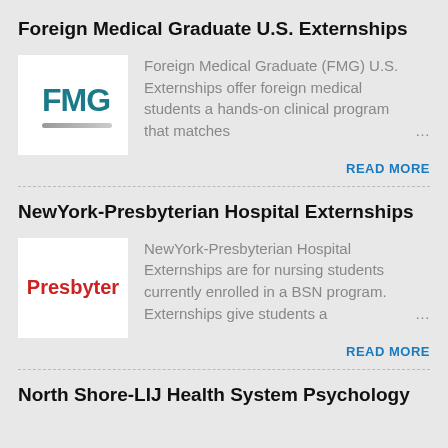Foreign Medical Graduate U.S. Externships
[Figure (logo): FMG logo with teal letters and silver swoosh underline on white background]
Foreign Medical Graduate (FMG) U.S. Externships offer foreign medical students a hands-on clinical program that matches …
READ MORE
NewYork-Presbyterian Hospital Externships
[Figure (logo): Presbyterian logo with red text on white background]
NewYork-Presbyterian Hospital Externships are for nursing students currently enrolled in a BSN program. Externships give students a …
READ MORE
North Shore-LIJ Health System Psychology